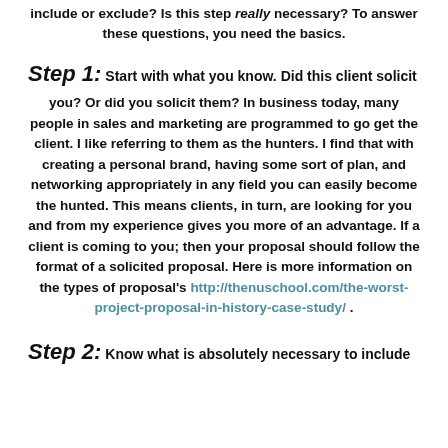include or exclude? Is this step really necessary? To answer these questions, you need the basics.
Step 1: Start with what you know.
Did this client solicit you? Or did you solicit them? In business today, many people in sales and marketing are programmed to go get the client. I like referring to them as the hunters. I find that with creating a personal brand, having some sort of plan, and networking appropriately in any field you can easily become the hunted. This means clients, in turn, are looking for you and from my experience gives you more of an advantage. If a client is coming to you; then your proposal should follow the format of a solicited proposal. Here is more information on the types of proposal's http://thenuschool.com/the-worst-project-proposal-in-history-case-study/ .
Step 2: Know what is absolutely necessary to include